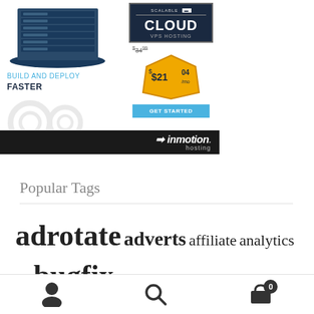[Figure (advertisement): InMotion Hosting advertisement showing server infrastructure graphic, 'BUILD AND DEPLOY FASTER' text, cloud VPS hosting pricing at $21.04/mo (was $34), GET STARTED button, and InMotion hosting logo on dark bar]
Popular Tags
adrotate adverts affiliate analytics api bugfix classicpress compatible dashboard development